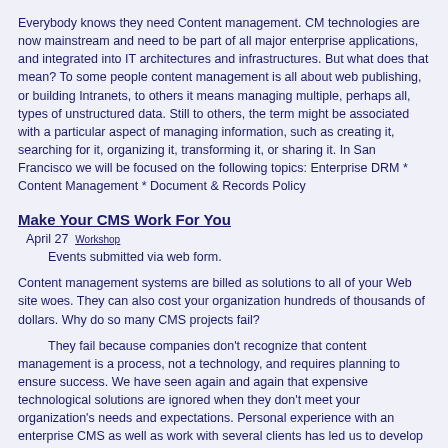Everybody knows they need Content management. CM technologies are now mainstream and need to be part of all major enterprise applications, and integrated into IT architectures and infrastructures. But what does that mean? To some people content management is all about web publishing, or building Intranets, to others it means managing multiple, perhaps all, types of unstructured data. Still to others, the term might be associated with a particular aspect of managing information, such as creating it, searching for it, organizing it, transforming it, or sharing it. In San Francisco we will be focused on the following topics: Enterprise DRM * Content Management * Document & Records Policy
Make Your CMS Work For You
April 27 Workshop
Events submitted via web form.
Content management systems are billed as solutions to all of your Web site woes. They can also cost your organization hundreds of thousands of dollars. Why do so many CMS projects fail?
They fail because companies don't recognize that content management is a process, not a technology, and requires planning to ensure success. We have seen again and again that expensive technological solutions are ignored when they don't meet your organization's needs and expectations. Personal experience with an enterprise CMS as well as work with several clients has led us to develop a series of steps that will help you use your CMS efficiently.
Topics we'll cover include:
Building your team